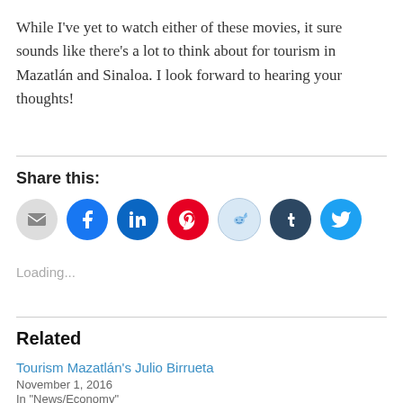While I've yet to watch either of these movies, it sure sounds like there's a lot to think about for tourism in Mazatlán and Sinaloa. I look forward to hearing your thoughts!
Share this:
[Figure (other): Row of social share icon buttons: email (grey), Facebook (blue), LinkedIn (dark blue), Pinterest (red), Reddit (light blue), Tumblr (dark navy), Twitter (cyan)]
Loading...
Related
Tourism Mazatlán's Julio Birrueta
November 1, 2016
In "News/Economy"